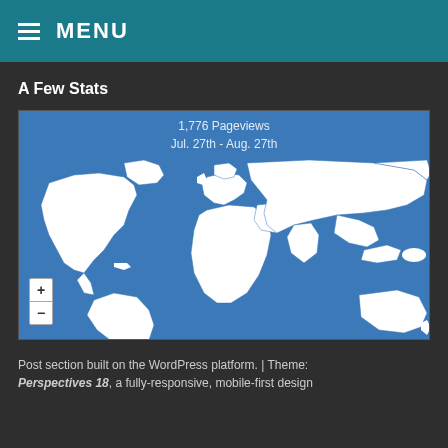≡ MENU
A Few Stats
[Figure (map): World map showing pageview locations. Title: 1,776 Pageviews, Jul. 27th - Aug. 27th. Blue background with white country outlines. Zoom controls (+/-) in bottom left.]
Post section built on the WordPress platform. | Theme: Perspectives 18, a fully-responsive, mobile-first design